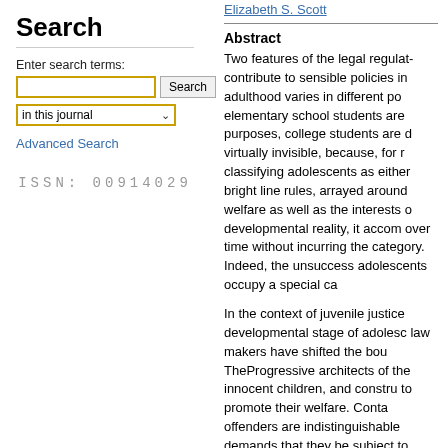Elizabeth S. Scott
Search
Enter search terms:
in this journal
Advanced Search
ISSN: 00914029
Abstract
Two features of the legal regulat... contribute to sensible policies in... adulthood varies in different po... elementary school students are... purposes, college students are d... virtually invisible, because, for r... classifying adolescents as either... bright line rules, arrayed around... welfare as well as the interests o... developmental reality, it accom... over time without incurring the... category. Indeed, the unsuccess... adolescents occupy a special ca...
In the context of juvenile justice... developmental stage of adolesc... law makers have shifted the bou... TheProgressive architects of the... innocent children, and constru... to promote their welfare. Conta... offenders are indistinguishable... demands that they be subject to...